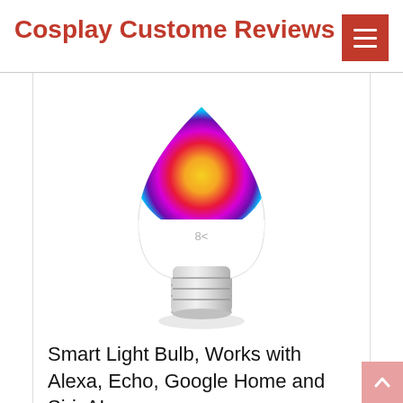Cosplay Custome Reviews
[Figure (photo): A smart LED light bulb with a multicolor gradient top (red, orange, yellow, green, cyan, blue, purple) transitioning into a white body with a silver metallic screw base. A small logo is visible on the white portion.]
Smart Light Bulb, Works with Alexa, Echo, Google Home and Siri, AL